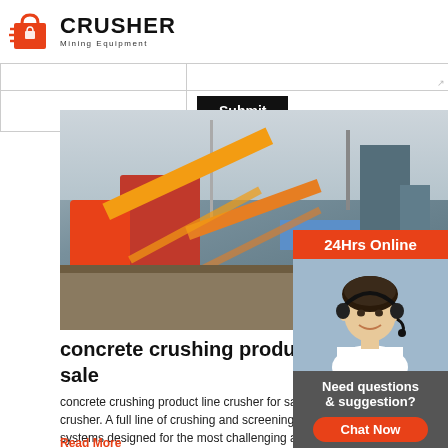[Figure (logo): Crusher Mining Equipment logo with red shopping bag icon and bold CRUSHER text]
|  |  |
|  | Submit |
[Figure (photo): Industrial concrete crushing product line with orange machinery, conveyors, and structures at a construction site]
concrete crushing product line crusher for sale
concrete crushing product line crusher for sale has crusher. A full line of crushing and screening plant systems designed for the most challenging applications, processing concrete with the toughest, high-volume rebar, with ease. Processing the most abrasive materials without equipment fatigue.
Read More
[Figure (photo): 24Hrs Online customer service representative woman with headset smiling]
Need questions & suggestion?
Chat Now
Enquiry
limingjlmofen@sina.com